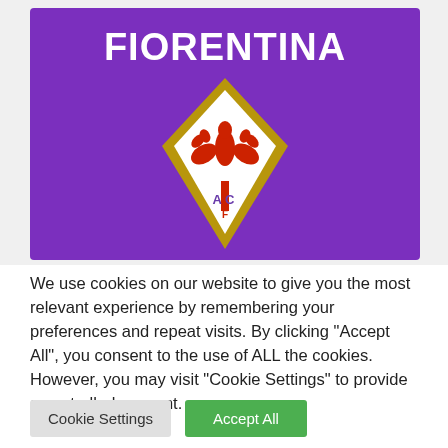[Figure (logo): ACF Fiorentina club merchandise – purple card/booklet with the Fiorentina crest (gold diamond shape with white centre containing a red fleur-de-lis, letters AC F) and FIORENTINA in bold white text at top]
We use cookies on our website to give you the most relevant experience by remembering your preferences and repeat visits. By clicking "Accept All", you consent to the use of ALL the cookies. However, you may visit "Cookie Settings" to provide a controlled consent.
Cookie Settings
Accept All